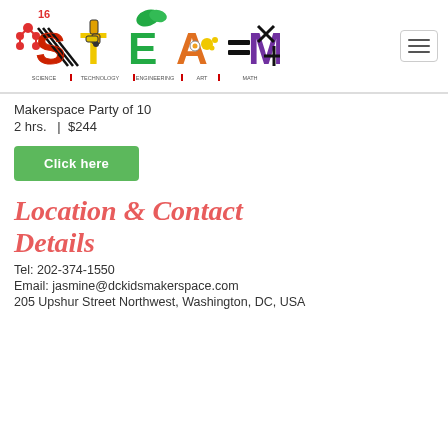[Figure (logo): STEAM16 logo with colorful letters S, T, E, A, M representing Science, Technology, Engineering, Art, Math]
Makerspace Party of 10
2 hrs.  |  $244
Click here
Location & Contact Details
Tel: 202-374-1550
Email: jasmine@dckidsmakerspace.com
205 Upshur Street Northwest, Washington, DC, USA